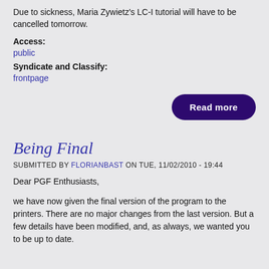Due to sickness, Maria Zywietz's LC-I tutorial will have to be cancelled tomorrow.
Access:
public
Syndicate and Classify:
frontpage
Read more
Being Final
SUBMITTED BY FLORIANBAST ON TUE, 11/02/2010 - 19:44
Dear PGF Enthusiasts,
we have now given the final version of the program to the printers. There are no major changes from the last version. But a few details have been modified, and, as always, we wanted you to be up to date.
On the back to this next page you find the current and final version of the